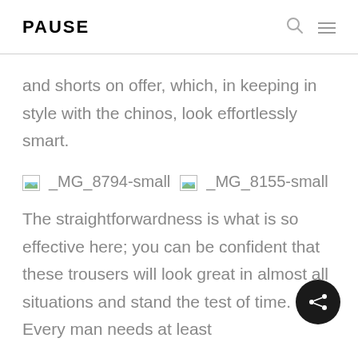PAUSE
and shorts on offer, which, in keeping in style with the chinos, look effortlessly smart.
[Figure (other): Two broken image placeholders labeled _MG_8794-small and _MG_8155-small]
The straightforwardness is what is so effective here; you can be confident that these trousers will look great in almost all situations and stand the test of time. Every man needs at least